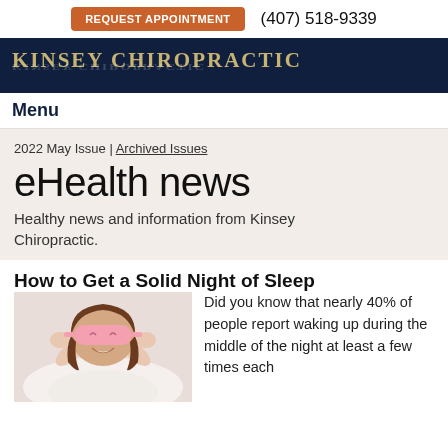REQUEST APPOINTMENT  (407) 518-9339
[Figure (logo): Kinsey Chiropractic logo with gold text on dark navy background, with reflection effect below]
Menu
2022 May Issue | Archived Issues
eHealth news
Healthy news and information from Kinsey Chiropractic.
How to Get a Solid Night of Sleep
[Figure (photo): Woman lying in bed smiling, wearing a pink sleep/eye mask, holding the mask with both hands]
Did you know that nearly 40% of people report waking up during the middle of the night at least a few times each